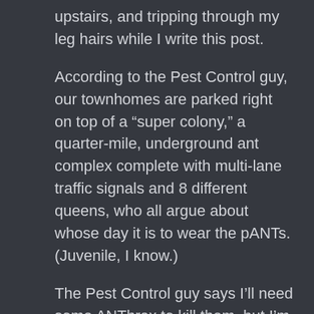upstairs, and tripping through my leg hairs while I write this post.
According to the Pest Control guy, our townhomes are parked right on top of a “super colony,”  a quarter-mile, underground ant complex complete with multi-lane traffic signals and 8 different queens, who all argue about whose day it is to wear the pANTs. (Juvenile, I know.)
The Pest Control guy says I’ll need some ANThrax to kill them, but I’m pretty sure that’s illegal, even in Texas.  Termidore is a close second-choice, but Termidore costs more than Anthrax, says the HOA, so they’re not going to